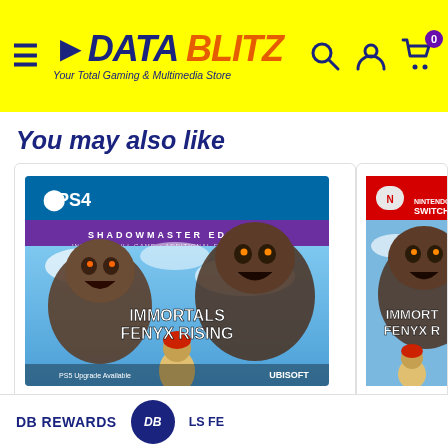DATA BLITZ - Your Total Gaming & Multimedia Store
You may also like
[Figure (photo): PS4 Immortals Fenyx Rising Shadowmaster Edition game cover art showing two giant gorilla-like creatures and a warrior character, published by Ubisoft]
₱695.00
PS4 IMMORTALS FENYX RISING SHADOWMASTER EDITION REG.3
[Figure (photo): Nintendo Switch Immortals Fenyx Rising game cover art (Asian version), partially visible]
₱975.00
LS FE (Asian)
DB REWARDS